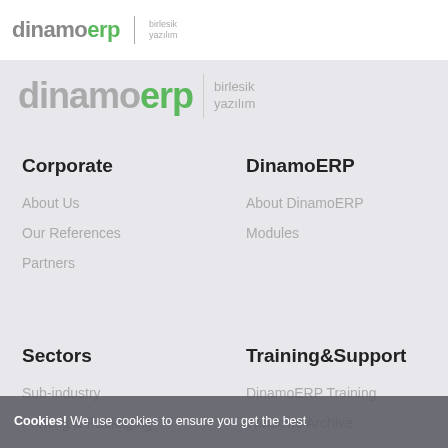dinamoerp | birlesik yazilim
[Figure (logo): dinamoerp logo with birlesik yazilim text in gray area]
Corporate
About Us
Our References
Partners
DinamoERP
About DinamoERP
Modules
Sectors
Sub-industry
Printing & Packaging
Training&Support
DinamoERP Training
Windows Archive
Cookies! We use cookies to ensure you get the best